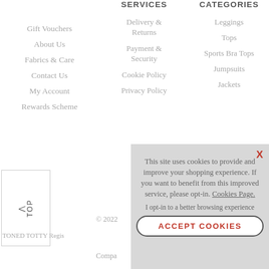SERVICES
CATEGORIES
Gift Vouchers
About Us
Fabrics & Care
Contact Us
My Account
Rewards Scheme
Delivery & Returns
Payment & Security
Cookie Policy
Privacy Policy
Leggings
Tops
Sports Bra Tops
Jumpsuits
Jackets
© 2022
↑ TOP
TONED TOTTY Regis
Compa
This site uses cookies to provide and improve your shopping experience. If you want to benefit from this improved service, please opt-in. Cookies Page.
I opt-in to a better browsing experience
ACCEPT COOKIES